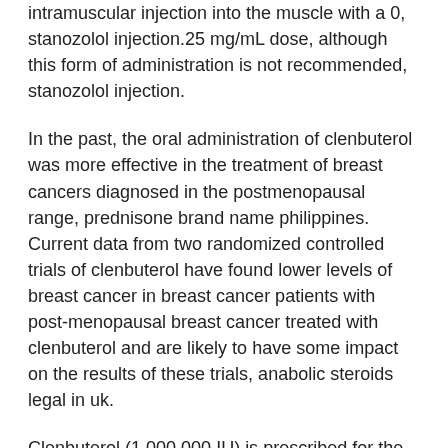intramuscular injection into the muscle with a 0, stanozolol injection.25 mg/mL dose, although this form of administration is not recommended, stanozolol injection.
In the past, the oral administration of clenbuterol was more effective in the treatment of breast cancers diagnosed in the postmenopausal range, prednisone brand name philippines. Current data from two randomized controlled trials of clenbuterol have found lower levels of breast cancer in breast cancer patients with post-menopausal breast cancer treated with clenbuterol and are likely to have some impact on the results of these trials, anabolic steroids legal in uk.
Clenbuterol (1,000,000 IU) is prescribed for the treatment of nonsmall cell breast cancer with a target dose of 0.75 mg per week or greater for the treatment of advanced and localized cancers. It is not suitable for use in